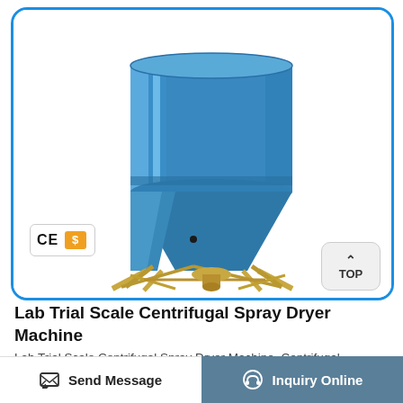[Figure (photo): Lab Trial Scale Centrifugal Spray Dryer Machine — a large blue cylindrical industrial tank/dryer unit mounted on a golden metal frame structure with legs, shown on white background. CE mark and gold supplier badge visible in lower left of image.]
Lab Trial Scale Centrifugal Spray Dryer Machine
Lab Trial Scale Centrifugal Spray Dryer Machine. Centrifugal granulation spray dryer introduction Centrifugal granulation spray dryer is a special equipment and is suitable for
Send Message  |  Inquiry Online